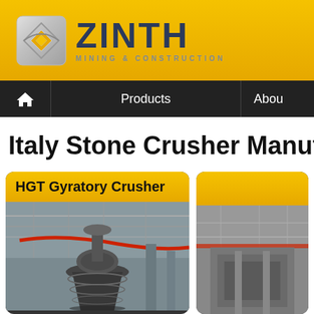[Figure (logo): ZINTH Mining & Construction company logo with geometric diamond icon on yellow background]
Products   Abou
Italy Stone Crusher Manufactur
HGT Gyratory Crusher
[Figure (photo): Gyratory crusher industrial equipment in a factory/construction setting with red pipes visible]
[Figure (photo): Partial view of another crusher/industrial equipment, right side card]